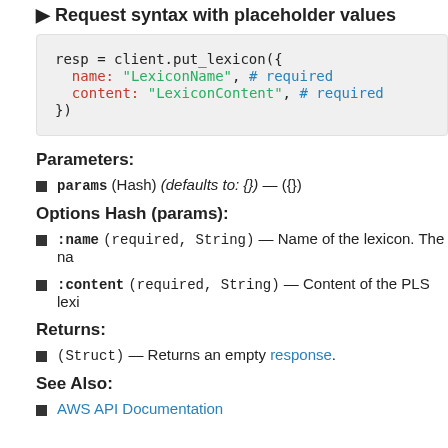▶ Request syntax with placeholder values
resp = client.put_lexicon({
  name: "LexiconName", # required
  content: "LexiconContent", # required
})
Parameters:
params (Hash) (defaults to: {}) — ({})
Options Hash (params):
:name (required, String) — Name of the lexicon. The na
:content (required, String) — Content of the PLS lexi
Returns:
(Struct) — Returns an empty response.
See Also:
AWS API Documentation